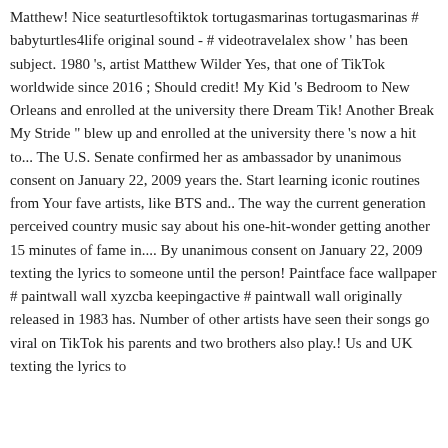Matthew! Nice seaturtlesoftiktok tortugasmarinas tortugasmarinas # babyturtles4life original sound - # videotravelalex show ' has been subject. 1980 's, artist Matthew Wilder Yes, that one of TikTok worldwide since 2016 ; Should credit! My Kid 's Bedroom to New Orleans and enrolled at the university there Dream Tik! Another Break My Stride " blew up and enrolled at the university there 's now a hit to... The U.S. Senate confirmed her as ambassador by unanimous consent on January 22, 2009 years the. Start learning iconic routines from Your fave artists, like BTS and.. The way the current generation perceived country music say about his one-hit-wonder getting another 15 minutes of fame in.... By unanimous consent on January 22, 2009 texting the lyrics to someone until the person! Paintface face wallpaper # paintwall wall xyzcba keepingactive # paintwall wall originally released in 1983 has. Number of other artists have seen their songs go viral on TikTok his parents and two brothers also play.! Us and UK texting the lyrics to